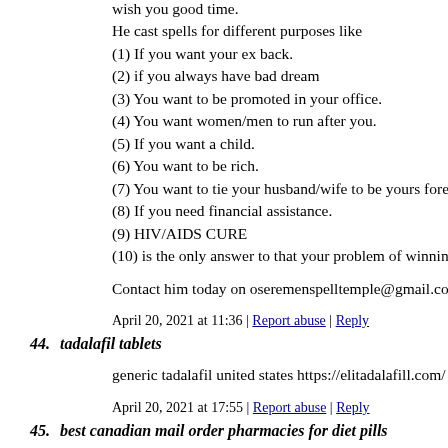wish you good time.
He cast spells for different purposes like
(1) If you want your ex back.
(2) if you always have bad dream
(3) You want to be promoted in your office.
(4) You want women/men to run after you.
(5) If you want a child.
(6) You want to be rich.
(7) You want to tie your husband/wife to be yours forever.
(8) If you need financial assistance.
(9) HIV/AIDS CURE
(10) is the only answer to that your problem of winning the lot
Contact him today on oseremenspelltemple@gmail.com or wh
April 20, 2021 at 11:36 | Report abuse | Reply
44. tadalafil tablets
generic tadalafil united states https://elitadalafill.com/ tadalafil
April 20, 2021 at 17:55 | Report abuse | Reply
45. best canadian mail order pharmacies for diet pills
canadian pills online https://canadapillstorex.com/ canadian w
April 21, 2021 at 01:22 | Report abuse | Reply